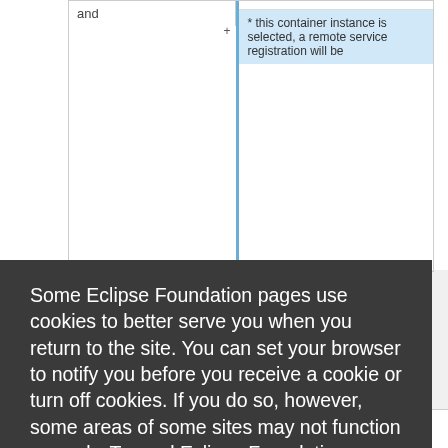[Figure (screenshot): Partial view of a documentation table showing 'and' text in left cell and '* this container instance is selected, a remote service registration will be' text in blue-highlighted right cell with a + expand indicator]
Some Eclipse Foundation pages use cookies to better serve you when you return to the site. You can set your browser to notify you before you receive a cookie or turn off cookies. If you do so, however, some areas of some sites may not function properly. To read Eclipse Foundation Privacy Policy
click here.
Decline
Allow cookies
[Figure (screenshot): Partial view of bottom table row showing '* The given' text in right cell]